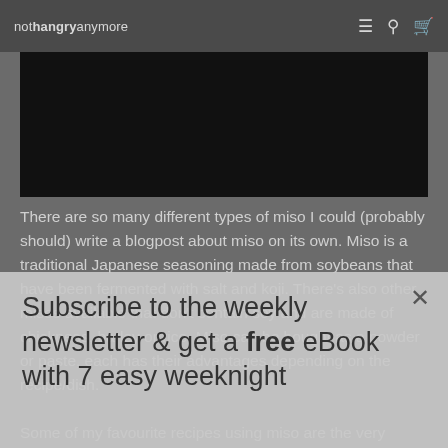nothangry anymore
[Figure (photo): Dark/black rectangular image block, likely a food or recipe photo]
There are so many different types of miso I could (probably should) write a blogpost about miso on its own. Miso is a traditional Japanese seasoning made from soybeans that have been fermented with salt and koji. There's also other misos available that don't contain soy and are made of chickpeas, barley or rice. Miso can be bought as a powder or paste, each has their advantages depending on the recipe/dish.
Some of my favourite recipes using miso are the very popular miso tahini salad dressing dip.
Subscribe to the weekly newsletter & get a free eBook with 7 easy weeknight
The one bowlwith7 to like and weeknight